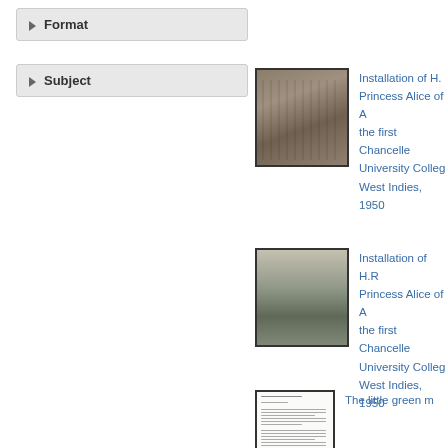Format
Subject
[Figure (photo): Historical black-and-white photograph of a group of people in academic robes gathered outdoors]
Installation of H. Princess Alice of A the first Chancello University Colleg West Indies, 1950
[Figure (photo): Historical black-and-white photograph of a ceremony on a stage with people in academic dress]
Installation of H.R Princess Alice of A the first Chancell University Colleg West Indies, 1950
[Figure (photo): Thumbnail of a text document page]
The little green m